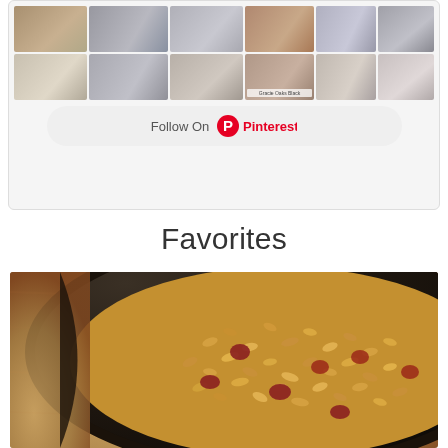[Figure (screenshot): Pinterest widget showing a grid of home interior photos with a 'Follow On Pinterest' button below]
Favorites
[Figure (photo): Close-up overhead photo of dirty rice or jambalaya with sausage in a cast iron skillet on a wooden surface]